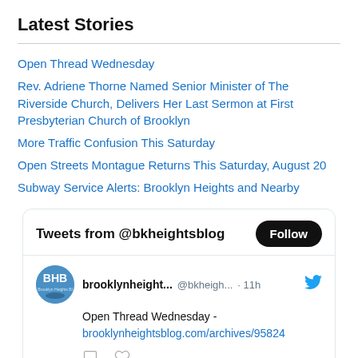Latest Stories
Open Thread Wednesday
Rev. Adriene Thorne Named Senior Minister of The Riverside Church, Delivers Her Last Sermon at First Presbyterian Church of Brooklyn
More Traffic Confusion This Saturday
Open Streets Montague Returns This Saturday, August 20
Subway Service Alerts: Brooklyn Heights and Nearby
[Figure (screenshot): Twitter widget showing 'Tweets from @bkheightsblog' with a Follow button, and a tweet from brooklynheight... (@bkheigh...) posted 11h ago: 'Open Thread Wednesday - brooklynheightsblog.com/archives/95824' with comment and like icons. A partial second tweet row is visible at the bottom.]